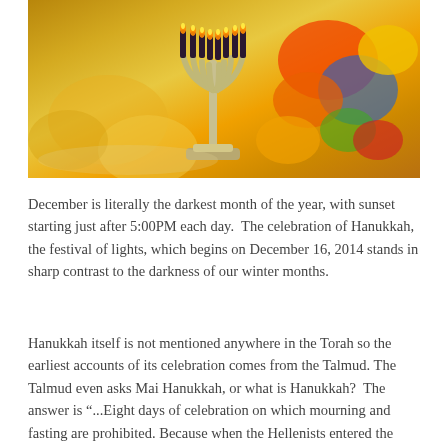[Figure (photo): A Hanukkah menorah (hanukkiah) with lit candles against a blurred background of colorful dreidels and festive items in orange, yellow, red, and green.]
December is literally the darkest month of the year, with sunset starting just after 5:00PM each day.  The celebration of Hanukkah, the festival of lights, which begins on December 16, 2014 stands in sharp contrast to the darkness of our winter months.
Hanukkah itself is not mentioned anywhere in the Torah so the earliest accounts of its celebration comes from the Talmud. The Talmud even asks Mai Hanukkah, or what is Hanukkah?  The answer is “...Eight days of celebration on which mourning and fasting are prohibited. Because when the Hellenists entered the